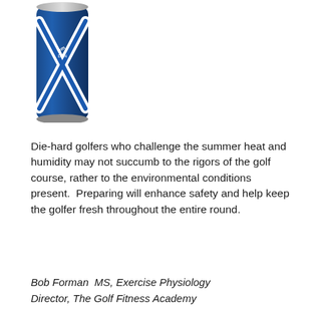[Figure (photo): A blue energy drink can with an X design and text on it, partially cropped at the top of the page.]
Die-hard golfers who challenge the summer heat and humidity may not succumb to the rigors of the golf course, rather to the environmental conditions present.  Preparing will enhance safety and help keep the golfer fresh throughout the entire round.
Bob Forman  MS, Exercise Physiology
Director, The Golf Fitness Academy
Twitter